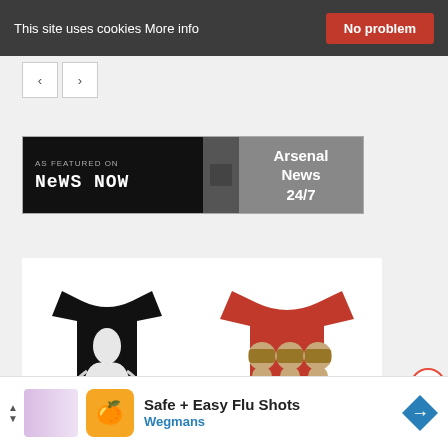This site uses cookies More info | No problem
[Figure (screenshot): Navigation arrow buttons (back/forward)]
[Figure (screenshot): AS FEATURED ON News Now banner with Arsenal News 24/7 text]
[Figure (photo): Two t-shirts: black t-shirt with white figure graphic on left, red t-shirt with three monkey figures on right]
[Figure (screenshot): Red decorative swoosh curve and close X button]
Safe + Easy Flu Shots Wegmans